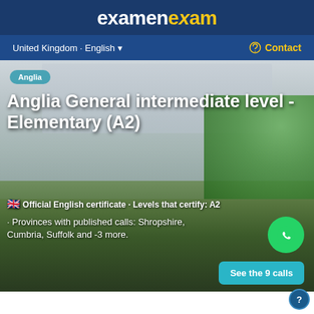examenexam
United Kingdom · English ▼
Contact
[Figure (photo): Campus photo showing a modern university building with students sitting on the grass in the foreground and trees in the background]
Anglia
Anglia General intermediate level - Elementary (A2)
🇬🇧 Official English certificate · Levels that certify: A2
· Provinces with published calls: Shropshire, Cumbria, Suffolk and -3 more.
See the 9 calls